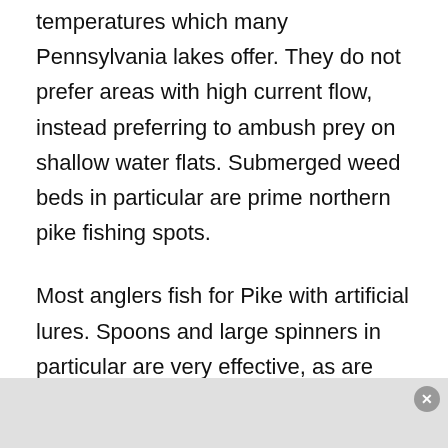temperatures which many Pennsylvania lakes offer. They do not prefer areas with high current flow, instead preferring to ambush prey on shallow water flats. Submerged weed beds in particular are prime northern pike fishing spots.
Most anglers fish for Pike with artificial lures. Spoons and large spinners in particular are very effective, as are plugs and even soft plastic lures. This allows them to cover a lot of water and searching fish while also appealing to the aggressive nature of pike. It's northern pike